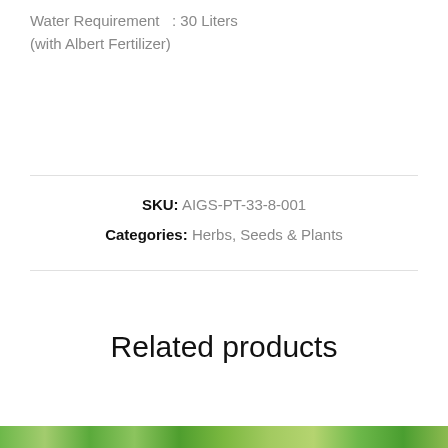Water Requirement  : 30 Liters (with Albert Fertilizer)
SKU: AIGS-PT-33-8-001
Categories: Herbs, Seeds & Plants
Related products